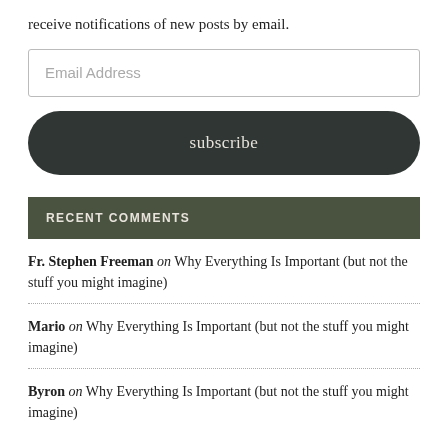receive notifications of new posts by email.
Email Address
subscribe
RECENT COMMENTS
Fr. Stephen Freeman on Why Everything Is Important (but not the stuff you might imagine)
Mario on Why Everything Is Important (but not the stuff you might imagine)
Byron on Why Everything Is Important (but not the stuff you might imagine)